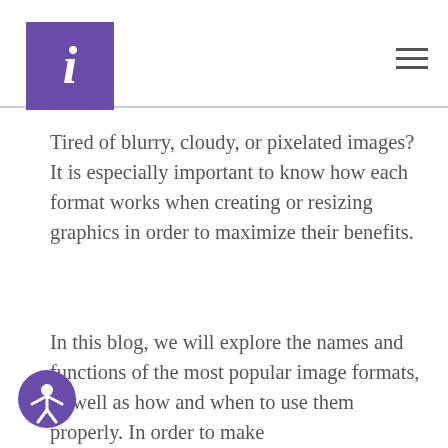[Figure (logo): Purple square logo with white italic letter i]
Tired of blurry, cloudy, or pixelated images? It is especially important to know how each format works when creating or resizing graphics in order to maximize their benefits.
In this blog, we will explore the names and functions of the most popular image formats, as well as how and when to use them properly. In order to make